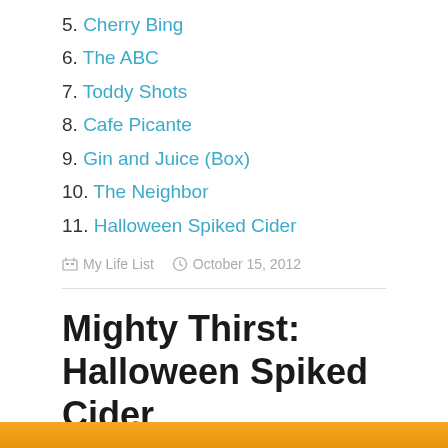5. Cherry Bing
6. The ABC
7. Toddy Shots
8. Cafe Picante
9. Gin and Juice (Box)
10. The Neighbor
11. Halloween Spiked Cider
My Life List   October 15, 2012
Mighty Thirst: Halloween Spiked Cider
[Figure (photo): Orange/amber colored image at bottom of page, likely a photo of cider or drink]